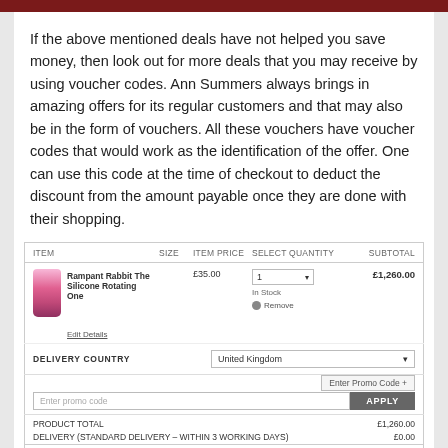If the above mentioned deals have not helped you save money, then look out for more deals that you may receive by using voucher codes. Ann Summers always brings in amazing offers for its regular customers and that may also be in the form of vouchers. All these vouchers have voucher codes that would work as the identification of the offer. One can use this code at the time of checkout to deduct the discount from the amount payable once they are done with their shopping.
| ITEM | SIZE | ITEM PRICE | SELECT QUANTITY | SUBTOTAL |
| --- | --- | --- | --- | --- |
| Rampant Rabbit The Silicone Rotating One |  | £35.00 | 1 ▾
In Stock | £1,260.00 |
| Edit Details |  | Remove |  |  |
| DELIVERY COUNTRY |  |  | United Kingdom ▾ |  |
|  |  |  | Enter Promo Code + |  |
| [Enter promo code] |  |  | APPLY |  |
| PRODUCT TOTAL |  |  |  | £1,260.00 |
| DELIVERY (STANDARD DELIVERY – WITHIN 3 WORKING DAYS) |  |  |  | £0.00 |
| TOTAL |  |  |  | £1,260.00 |